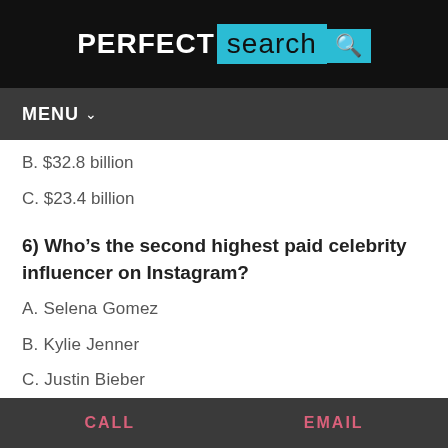PERFECT search
MENU
B.  $32.8 billion
C.  $23.4 billion
6) Who’s the second highest paid celebrity influencer on Instagram?
A.  Selena Gomez
B.  Kylie Jenner
C.  Justin Bieber
CALL    EMAIL